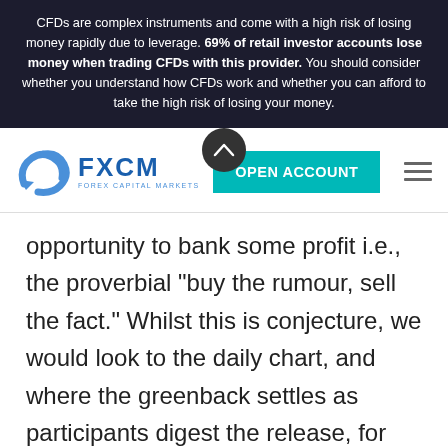CFDs are complex instruments and come with a high risk of losing money rapidly due to leverage. 69% of retail investor accounts lose money when trading CFDs with this provider. You should consider whether you understand how CFDs work and whether you can afford to take the high risk of losing your money.
[Figure (logo): FXCM Forex Capital Markets logo with teal swirl icon and blue FXCM text]
opportunity to bank some profit i.e., the proverbial "buy the rumour, sell the fact." Whilst this is conjecture, we would look to the daily chart, and where the greenback settles as participants digest the release, for near-term direction. This will then be reassessed in terms of emerging fundamental themes and primary trend considerations.